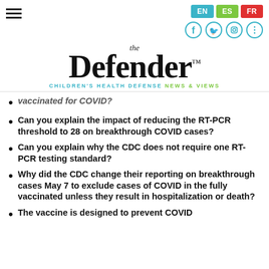the Defender™ — CHILDREN'S HEALTH DEFENSE NEWS & VIEWS
vaccinated for COVID?
Can you explain the impact of reducing the RT-PCR threshold to 28 on breakthrough COVID cases?
Can you explain why the CDC does not require one RT-PCR testing standard?
Why did the CDC change their reporting on breakthrough cases May 7 to exclude cases of COVID in the fully vaccinated unless they result in hospitalization or death?
The vaccine is designed to prevent COVID